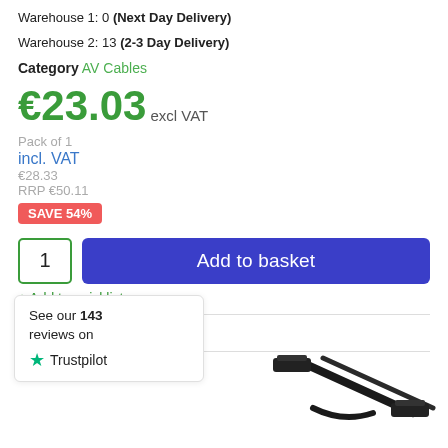Warehouse 1: 0 (Next Day Delivery)
Warehouse 2: 13 (2-3 Day Delivery)
Category AV Cables
€23.03 excl VAT
Pack of 1
incl. VAT
€28.33
RRP €50.11
SAVE 54%
1  Add to basket
+ Add to quicklist
Compare
See our 143 reviews on Trustpilot
[Figure (photo): Product image of a cable/AV accessory shown at the bottom right of the page]